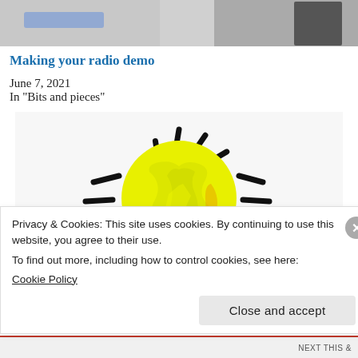[Figure (photo): Top banner image showing a blurred photo split into two sections — left side with a blurred blue element, right side with a dark figure silhouette]
Making your radio demo
June 7, 2021
In "Bits and pieces"
[Figure (photo): A crumpled yellow paper ball styled to look like a glowing light bulb with dark radiating lines drawn around it on a white background, representing a creative idea]
Privacy & Cookies: This site uses cookies. By continuing to use this website, you agree to their use.
To find out more, including how to control cookies, see here:
Cookie Policy
NEXT THIS &